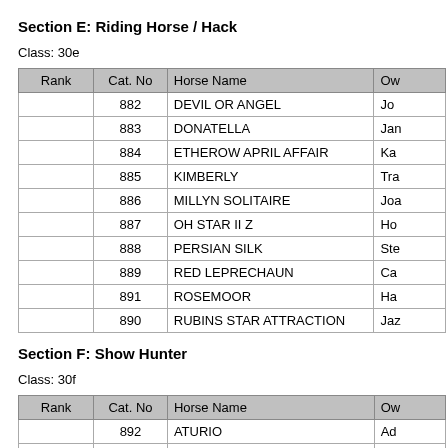Section E: Riding Horse / Hack
Class: 30e
| Rank | Cat. No | Horse Name | Ow |
| --- | --- | --- | --- |
|  | 882 | DEVIL OR ANGEL | Jo |
|  | 883 | DONATELLA | Jan |
|  | 884 | ETHEROW APRIL AFFAIR | Ka |
|  | 885 | KIMBERLY | Tra |
|  | 886 | MILLYN SOLITAIRE | Joa |
|  | 887 | OH STAR II Z | Ho |
|  | 888 | PERSIAN SILK | Ste |
|  | 889 | RED LEPRECHAUN | Ca |
|  | 891 | ROSEMOOR | Ha |
|  | 890 | RUBINS STAR ATTRACTION | Jaz |
Section F: Show Hunter
Class: 30f
| Rank | Cat. No | Horse Name | Ow |
| --- | --- | --- | --- |
|  | 892 | ATURIO | Ad |
|  | 893 | BUCKINGHAM BOYS | Cla |